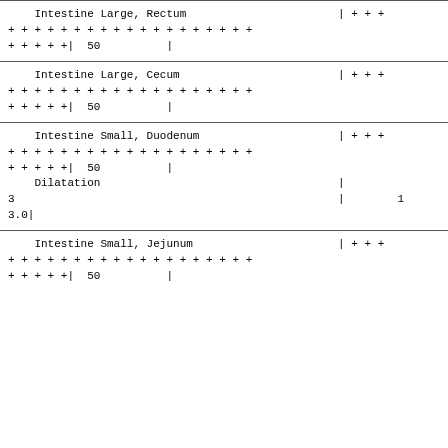| Intestine Large, Rectum | | + + + |
| + + + + + + + + + + + + + + + + + + |  |
| + + + + +|  50          | |  |
| Intestine Large, Cecum | | + + + |
| + + + + + + + + + + + + + + + + + + |  |
| + + + + +|  50          | |  |
| Intestine Small, Duodenum | | + + + |
| + + + + + + + + + + + + + + + + + + |  |
| + + + + +|  50          | |  |
|     Dilatation | | |
| 3 | | 1 |
| 3.0| |  |
| Intestine Small, Jejunum | | + + + |
| + + + + + + + + + + + + + + + + + + |  |
| + + + + +|  50          | |  |